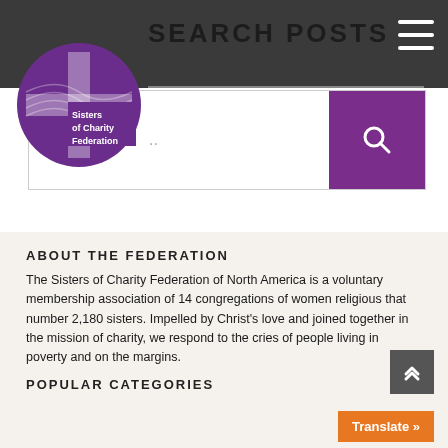SEARCH POSTS
[Figure (logo): Sisters of Charity Federation circular logo with purple cross and wave pattern]
ABOUT THE FEDERATION
The Sisters of Charity Federation of North America is a voluntary membership association of 14 congregations of women religious that number 2,180 sisters. Impelled by Christ’s love and joined together in the mission of charity, we respond to the cries of people living in poverty and on the margins.
POPULAR CATEGORIES